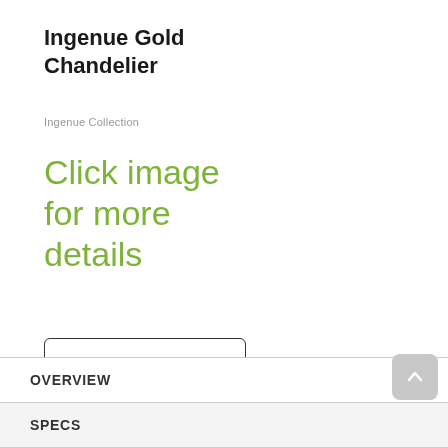Ingenue Gold Chandelier
Ingenue Collection
Click image for more details
See Details
OVERVIEW
SPECS